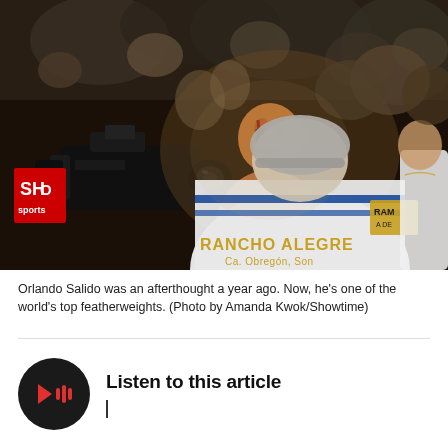[Figure (photo): A boxing scene showing a bloodied fighter (Orlando Salido) with a shaved head being surrounded by his team after a fight, with a large video camera visible on the left and a person in a 'Rancho Alegre' jacket in the foreground. A red Showtime Sports sign is visible on the left side.]
Orlando Salido was an afterthought a year ago. Now, he's one of the world's top featherweights. (Photo by Amanda Kwok/Showtime)
Listen to this article